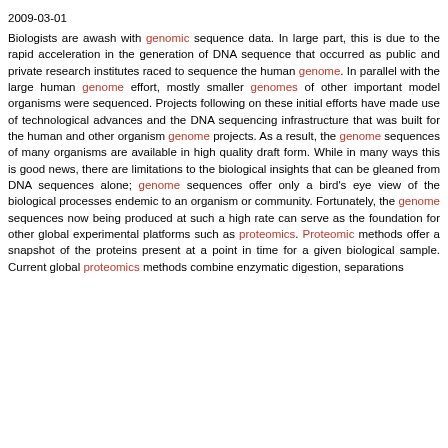2009-03-01
Biologists are awash with genomic sequence data. In large part, this is due to the rapid acceleration in the generation of DNA sequence that occurred as public and private research institutes raced to sequence the human genome. In parallel with the large human genome effort, mostly smaller genomes of other important model organisms were sequenced. Projects following on these initial efforts have made use of technological advances and the DNA sequencing infrastructure that was built for the human and other organism genome projects. As a result, the genome sequences of many organisms are available in high quality draft form. While in many ways this is good news, there are limitations to the biological insights that can be gleaned from DNA sequences alone; genome sequences offer only a bird's eye view of the biological processes endemic to an organism or community. Fortunately, the genome sequences now being produced at such a high rate can serve as the foundation for other global experimental platforms such as proteomics. Proteomic methods offer a snapshot of the proteins present at a point in time for a given biological sample. Current global proteomics methods combine enzymatic digestion, separations